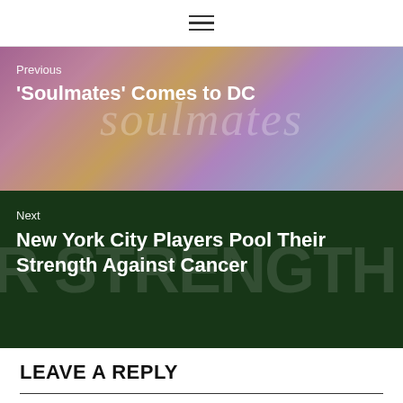≡
[Figure (photo): Navigation link to previous article 'Soulmates' Comes to DC, with colorful pink/purple/yellow watercolor background and italic soulmates watermark text]
[Figure (photo): Navigation link to next article New York City Players Pool Their Strength Against Cancer, with dark green background and large STRENGTH watermark text]
LEAVE A REPLY
Your email address will not be published. Required fields are marked *